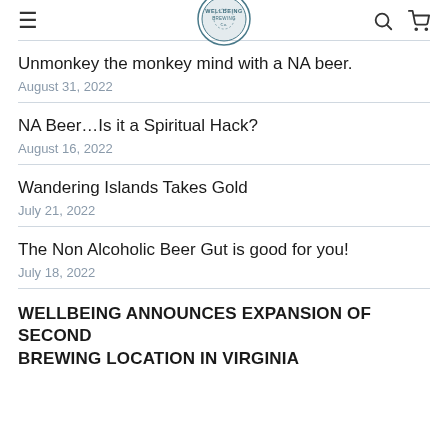≡ [Wellbeing Brewing Co. Logo] 🔍 🛒
Unmonkey the monkey mind with a NA beer.
August 31, 2022
NA Beer...Is it a Spiritual Hack?
August 16, 2022
Wandering Islands Takes Gold
July 21, 2022
The Non Alcoholic Beer Gut is good for you!
July 18, 2022
WELLBEING ANNOUNCES EXPANSION OF SECOND BREWING LOCATION IN VIRGINIA